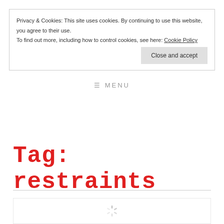Privacy & Cookies: This site uses cookies. By continuing to use this website, you agree to their use. To find out more, including how to control cookies, see here: Cookie Policy
Close and accept
CONFESSIONS.SE (logo/watermark)
≡ MENU
Tag: restraints
[Figure (other): Loading spinner / image placeholder box]